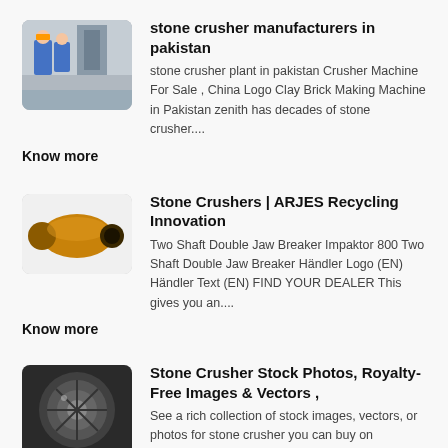[Figure (photo): Thumbnail photo of stone crusher plant workers in blue uniforms]
stone crusher manufacturers in pakistan
stone crusher plant in pakistan Crusher Machine For Sale , China Logo Clay Brick Making Machine in Pakistan zenith has decades of stone crusher....
Know more
[Figure (photo): Thumbnail image of a yellow cone-shaped stone crusher part]
Stone Crushers | ARJES Recycling Innovation
Two Shaft Double Jaw Breaker Impaktor 800 Two Shaft Double Jaw Breaker Händler Logo (EN) Händler Text (EN) FIND YOUR DEALER This gives you an....
Know more
[Figure (photo): Thumbnail photo of stone crusher rotating disc machinery]
Stone Crusher Stock Photos, Royalty-Free Images & Vectors ,
See a rich collection of stock images, vectors, or photos for stone crusher you can buy on Shutterstock Explore quality images, photos, art & more...